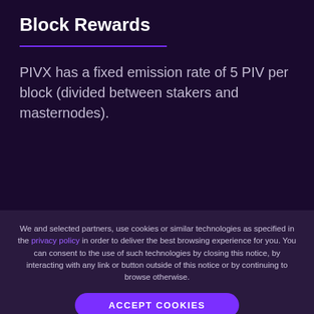Block Rewards
PIVX has a fixed emission rate of 5 PIV per block (divided between stakers and masternodes).
We and selected partners, use cookies or similar technologies as specified in the privacy policy in order to deliver the best browsing experience for you. You can consent to the use of such technologies by closing this notice, by interacting with any link or button outside of this notice or by continuing to browse otherwise.
ACCEPT COOKIES